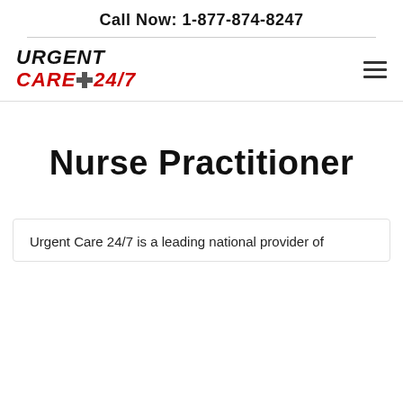Call Now: 1-877-874-8247
[Figure (logo): Urgent Care 24/7 logo with hamburger menu icon]
Nurse Practitioner
Urgent Care 24/7 is a leading national provider of